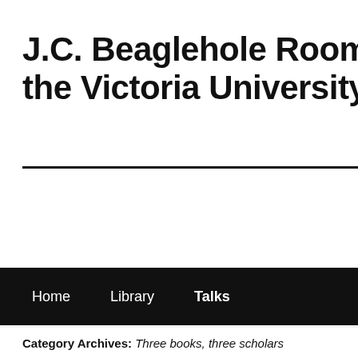J.C. Beaglehole Room – Special Collections at the Victoria University of Wellington
Home  Library  Talks
Category Archives: Three books, three scholars